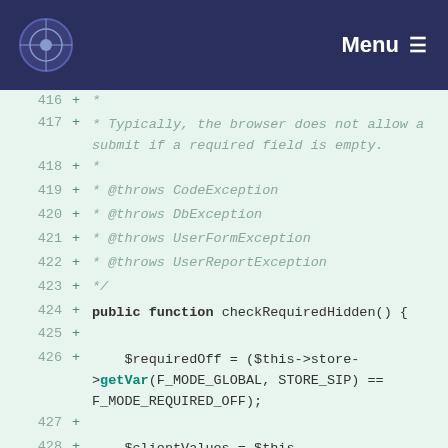Menu
[Figure (screenshot): Code diff view showing PHP code lines 416-430+. Lines show a PHPDoc comment block with @throws annotations and a public function checkRequiredHidden() with variable assignments using $requiredOff, $this->store->getVar(), $clientValues, $this->store::getStore().]